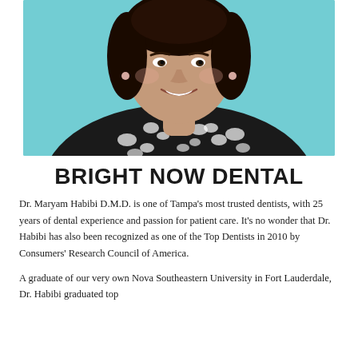[Figure (photo): Professional headshot of Dr. Maryam Habibi, a woman wearing a black and white patterned top and necklace, smiling, against a teal/turquoise background.]
BRIGHT NOW DENTAL
Dr. Maryam Habibi D.M.D. is one of Tampa's most trusted dentists, with 25 years of dental experience and passion for patient care. It's no wonder that Dr. Habibi has also been recognized as one of the Top Dentists in 2010 by Consumers' Research Council of America.
A graduate of our very own Nova Southeastern University in Fort Lauderdale, Dr. Habibi graduated top